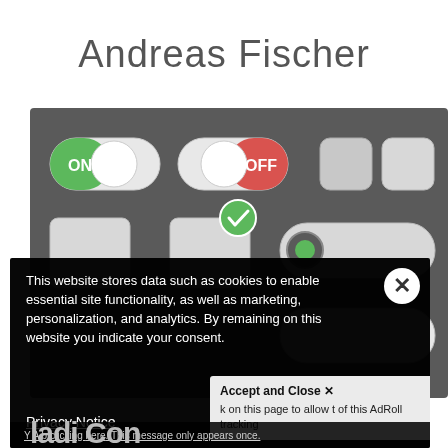Andreas Fischer
[Figure (screenshot): UI controls screenshot showing ON/OFF toggle switches, checkboxes, and radio button elements on a dark grey background. Includes green ON toggle, red OFF toggle, square buttons, a checkbox with green checkmark, and a pill-shaped toggle with green dot.]
[Figure (screenshot): Cookie consent popup overlay with black background. Contains an X close button, text about website cookies and data storage, a Privacy Notice link, and an Accept and Close button on the right side with AdRoll tracking text.]
This website stores data such as cookies to enable essential site functionality, as well as marketing, personalization, and analytics. By remaining on this website you indicate your consent.
Privacy Notice
Accept and Close ✕
k on this page to allow t of this AdRoll tracking